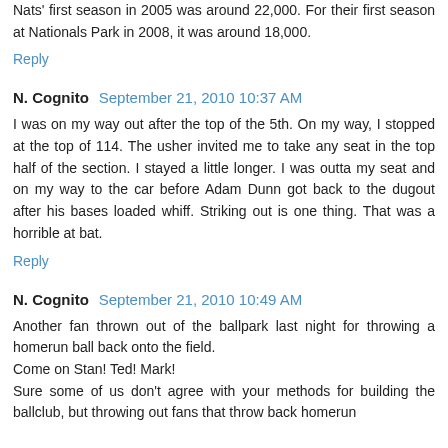Nats' first season in 2005 was around 22,000. For their first season at Nationals Park in 2008, it was around 18,000.
Reply
N. Cognito  September 21, 2010 10:37 AM
I was on my way out after the top of the 5th. On my way, I stopped at the top of 114. The usher invited me to take any seat in the top half of the section. I stayed a little longer. I was outta my seat and on my way to the car before Adam Dunn got back to the dugout after his bases loaded whiff. Striking out is one thing. That was a horrible at bat.
Reply
N. Cognito  September 21, 2010 10:49 AM
Another fan thrown out of the ballpark last night for throwing a homerun ball back onto the field. Come on Stan! Ted! Mark! Sure some of us don't agree with your methods for building the ballclub, but throwing out fans that throw back homerun